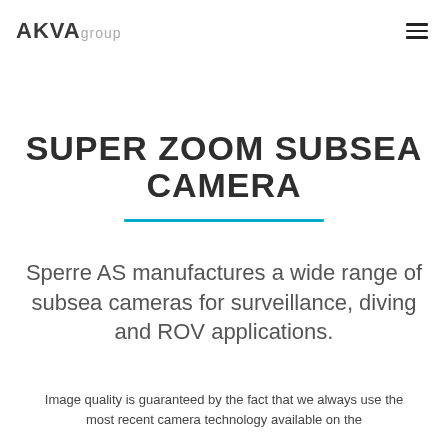AKVA group
SUPER ZOOM SUBSEA CAMERA
Sperre AS manufactures a wide range of subsea cameras for surveillance, diving and ROV applications.
Image quality is guaranteed by the fact that we always use the most recent camera technology available on the